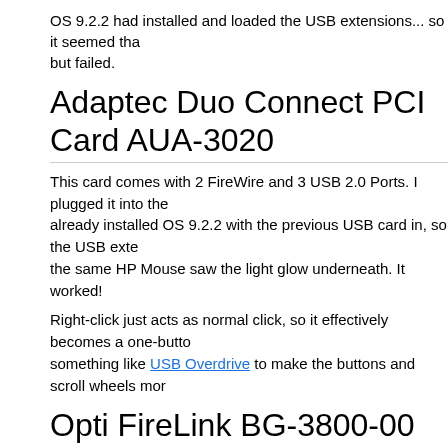OS 9.2.2 had installed and loaded the USB extensions... so it seemed that but failed.
Adaptec Duo Connect PCI Card AUA-3020
This card comes with 2 FireWire and 3 USB 2.0 Ports. I plugged it into the already installed OS 9.2.2 with the previous USB card in, so the USB exte the same HP Mouse saw the light glow underneath. It worked!
Right-click just acts as normal click, so it effectively becomes a one-butto something like USB Overdrive to make the buttons and scroll wheels mor
Opti FireLink BG-3800-00 UH-275
This is another PCI USB 2.0 Expansion card. Most USB tutorials for these this chipset, usually recommending it. I found one on Ebay for under USD
It worked perfectly on installation. No configuration necessary. The mouse
OS9.2.2 and USB Keyboards/Mice
The USB cards will apply power to the bus very early in the boot process, until the last icon on the desktop is loaded. It's still recommended to use y keep it for emergency purposes.)
Both the HP USB Mouse and Apple Keyboard (from a future iMac) worke